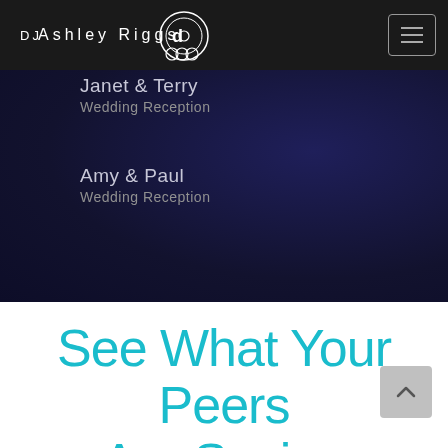DJ Ashley Riggs
Janet & Terry
Wedding Reception
Amy & Paul
Wedding Reception
See What Your Peers Are Saying